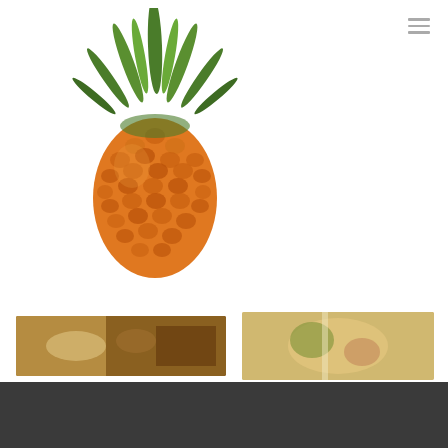[Figure (photo): A whole pineapple with green leafy crown on white background]
[Figure (photo): Thumbnail image of food/beverage items on a table, warm tones]
[Figure (photo): Thumbnail image of decorative food plating with floral garnish]
Chat with us
[Figure (logo): TripAdvisor logo (broken image placeholder text)]
[Figure (logo): Partial circular green logo at bottom left with 'IAN' visible]